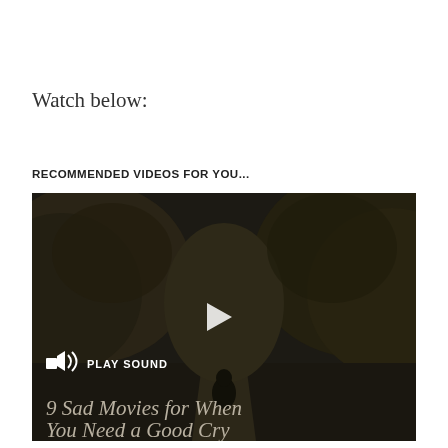Watch below:
RECOMMENDED VIDEOS FOR YOU...
[Figure (screenshot): Video thumbnail showing a dark outdoor scene with a person walking on a path between large rocky terrain. A play button is visible in the center, a speaker/sound icon and 'PLAY SOUND' text in the lower left, and the video title '9 Sad Movies for When You Need a Good Cry' at the bottom.]